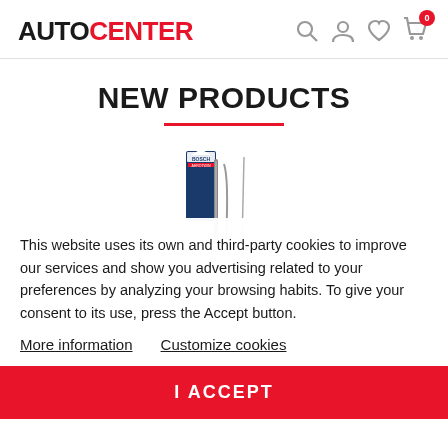AUTOICENTER
NEW PRODUCTS
[Figure (photo): Product image showing Bosch wiper blades packaging with wiper blades visible]
This website uses its own and third-party cookies to improve our services and show you advertising related to your preferences by analyzing your browsing habits. To give your consent to its use, press the Accept button.
More information   Customize cookies
I ACCEPT